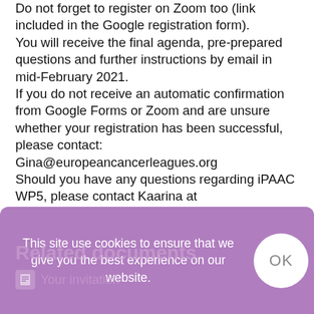Do not forget to register on Zoom too (link included in the Google registration form).
You will receive the final agenda, pre-prepared questions and further instructions by email in mid-February 2021.
If you do not receive an automatic confirmation from Google Forms or Zoom and are unsure whether your registration has been successful, please contact:
Gina@europeancancerleagues.org
Should you have any questions regarding iPAAC WP5, please contact Kaarina at Kaarina.Tamminiemi@cancer.fi
Please feel free to circulate this invitation to your colleagues.
With best wishes,The ECL Secretariat on behalf of the co-organisers
This site use cookies to ensure that we give you the best experience on our website.
Related documents
Your invitation